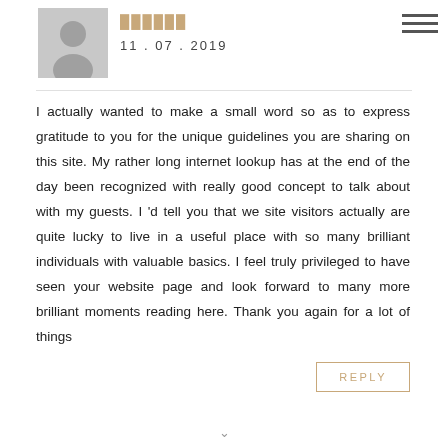[Figure (illustration): Gray circular avatar placeholder with silhouette of a person]
██████
11 . 07 . 2019
I actually wanted to make a small word so as to express gratitude to you for the unique guidelines you are sharing on this site. My rather long internet lookup has at the end of the day been recognized with really good concept to talk about with my guests. I 'd tell you that we site visitors actually are quite lucky to live in a useful place with so many brilliant individuals with valuable basics. I feel truly privileged to have seen your website page and look forward to many more brilliant moments reading here. Thank you again for a lot of things
REPLY